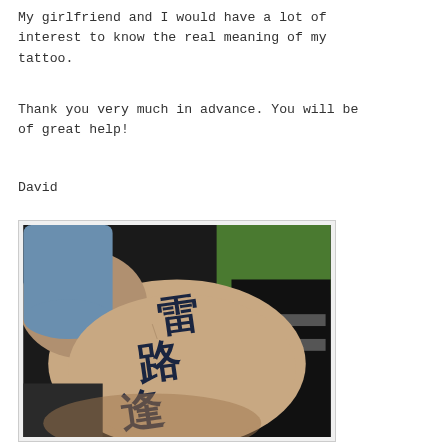My girlfriend and I would have a lot of interest to know the real meaning of my tattoo.
Thank you very much in advance. You will be of great help!
David
[Figure (photo): A photo of a person's arm with large Chinese/Japanese kanji characters tattooed vertically on it. The arm is pale-skinned, resting on a dark surface, with green and black objects visible in the background.]